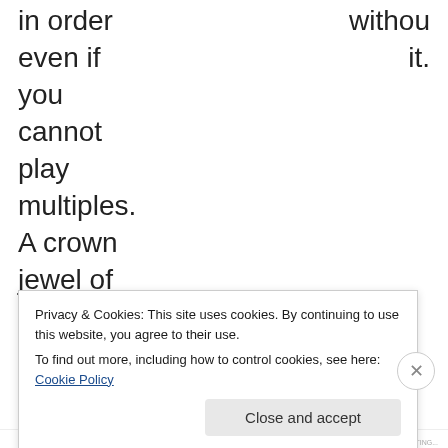in order   without
even if   it.
you
cannot
play
multiples.
A crown
jewel of
the
Infinity
line of
Privacy & Cookies: This site uses cookies. By continuing to use this website, you agree to their use.
To find out more, including how to control cookies, see here: Cookie Policy
Close and accept